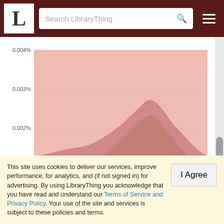[Figure (area-chart): Stacked area chart showing percentages over time (~2010-2020+) for Where's Waldo?, Find Waldo Now, Where's Wally? The Fantastic..., Where's Waldo? In Hollywood and other series. Y-axis ranges from 0.000% to 0.004%.]
1. Where's Waldo?
2. Find Waldo Now
3. Where's Wally? The Fantastic...
4. Where's Waldo? In Hollywood
This site uses cookies to deliver our services, improve performance, for analytics, and (if not signed in) for advertising. By using LibraryThing you acknowledge that you have read and understand our Terms of Service and Privacy Policy. Your use of the site and services is subject to these policies and terms.